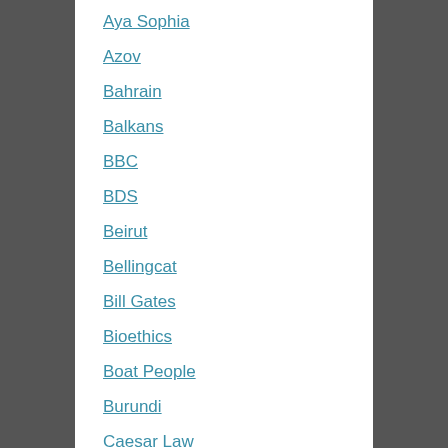Aya Sophia
Azov
Bahrain
Balkans
BBC
BDS
Beirut
Bellingcat
Bill Gates
Bioethics
Boat People
Burundi
Caesar Law
Canada
Cancer
Censorship